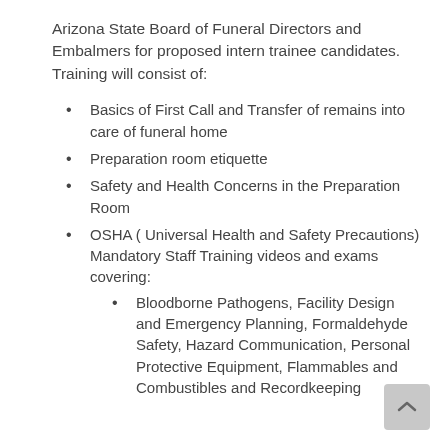Arizona State Board of Funeral Directors and Embalmers for proposed intern trainee candidates. Training will consist of:
Basics of First Call and Transfer of remains into care of funeral home
Preparation room etiquette
Safety and Health Concerns in the Preparation Room
OSHA ( Universal Health and Safety Precautions) Mandatory Staff Training videos and exams covering:
Bloodborne Pathogens, Facility Design and Emergency Planning, Formaldehyde Safety, Hazard Communication, Personal Protective Equipment, Flammables and Combustibles and Recordkeeping